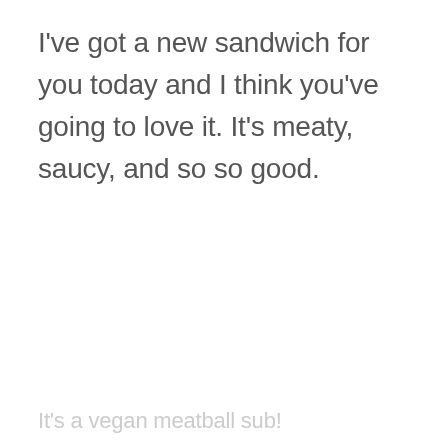I've got a new sandwich for you today and I think you've going to love it. It's meaty, saucy, and so so good.
It's a vegan meatball sub!